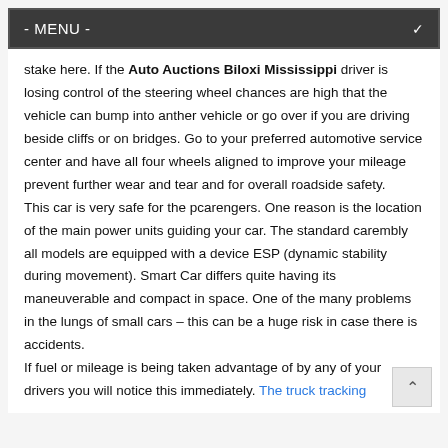- MENU -
stake here. If the Auto Auctions Biloxi Mississippi driver is losing control of the steering wheel chances are high that the vehicle can bump into anther vehicle or go over if you are driving beside cliffs or on bridges. Go to your preferred automotive service center and have all four wheels aligned to improve your mileage prevent further wear and tear and for overall roadside safety.
This car is very safe for the pcarengers. One reason is the location of the main power units guiding your car. The standard carembly all models are equipped with a device ESP (dynamic stability during movement). Smart Car differs quite having its maneuverable and compact in space. One of the many problems in the lungs of small cars – this can be a huge risk in case there is accidents.
If fuel or mileage is being taken advantage of by any of your drivers you will notice this immediately. The truck tracking